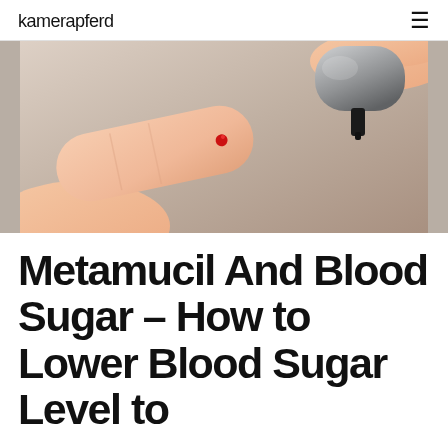kamerapferd
[Figure (photo): Close-up photo of a finger with a small blood drop being approached by a blood glucose meter for a blood sugar test. Hands visible from both sides on a light background.]
Metamucil And Blood Sugar – How to Lower Blood Sugar Level to